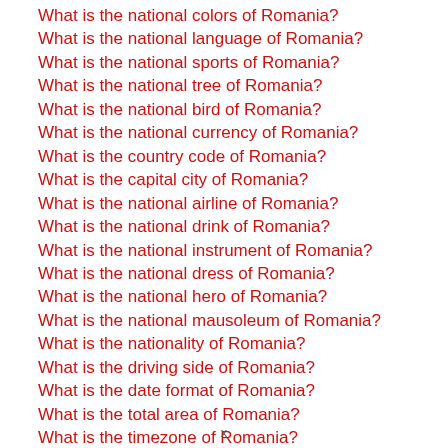What is the national colors of Romania?
What is the national language of Romania?
What is the national sports of Romania?
What is the national tree of Romania?
What is the national bird of Romania?
What is the national currency of Romania?
What is the country code of Romania?
What is the capital city of Romania?
What is the national airline of Romania?
What is the national drink of Romania?
What is the national instrument of Romania?
What is the national dress of Romania?
What is the national hero of Romania?
What is the national mausoleum of Romania?
What is the nationality of Romania?
What is the driving side of Romania?
What is the date format of Romania?
What is the total area of Romania?
What is the timezone of Romania?
What is the national football team of Romania?
x